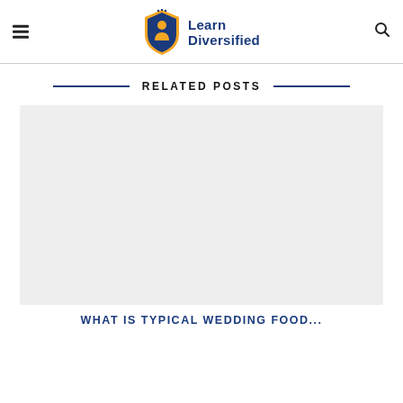Learn Diversified
RELATED POSTS
[Figure (photo): Placeholder image for a related post thumbnail, light gray background]
WHAT IS TYPICAL WEDDING FOOD...